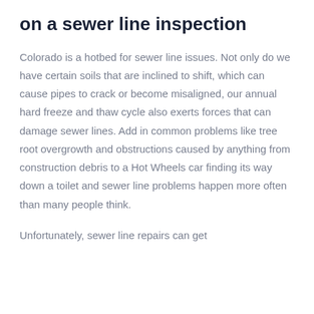on a sewer line inspection
Colorado is a hotbed for sewer line issues. Not only do we have certain soils that are inclined to shift, which can cause pipes to crack or become misaligned, our annual hard freeze and thaw cycle also exerts forces that can damage sewer lines. Add in common problems like tree root overgrowth and obstructions caused by anything from construction debris to a Hot Wheels car finding its way down a toilet and sewer line problems happen more often than many people think.
Unfortunately, sewer line repairs can get